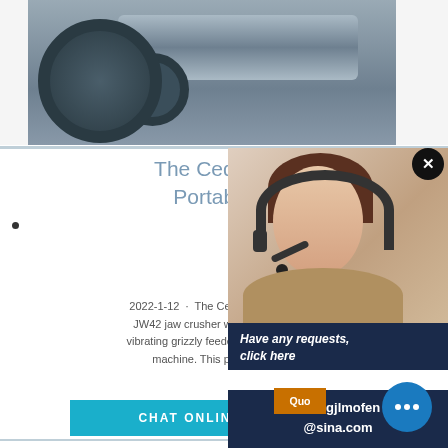[Figure (photo): Industrial ball mill machinery in a warehouse, showing large cylindrical drum and gear wheel]
The Cedarapids CRJ3 Portable Jaw Plan
2022-1-12 · The Cedarapids® CRJ3042 plant comb JW42 jaw crusher with a high stroke, 42" x 20' (10€ vibrating grizzly feeder resulting in a high production p machine. This plant includes a hopper desi.
CHAT ONLINE
[Figure (photo): Customer service representative with headset smiling]
Have any requests, click here
Quo
Enquiry
limingjlmofen
@sina.com
[Figure (photo): Industrial processing plant with tower structure and yellow painted equipment]